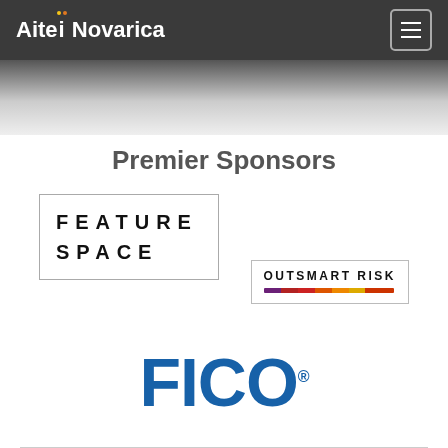Aite Novarica
Premier Sponsors
[Figure (logo): Featurespace logo — bordered box with bold spaced text 'FEATURE SPACE' and 'OUTSMART RISK' tagline with multicolor gradient bar]
[Figure (logo): FICO logo — large bold blue text 'FICO' with registered trademark symbol]